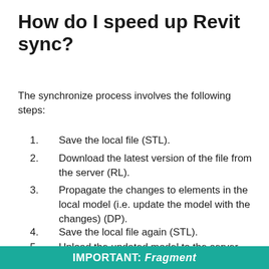How do I speed up Revit sync?
The synchronize process involves the following steps:
Save the local file (STL).
Download the latest version of the file from the server (RL).
Propagate the changes to elements in the local model (i.e. update the model with the changes) (DP).
Save the local file again (STL).
Upload the updated model to the server (STC).
IMPORTANT: Fragment